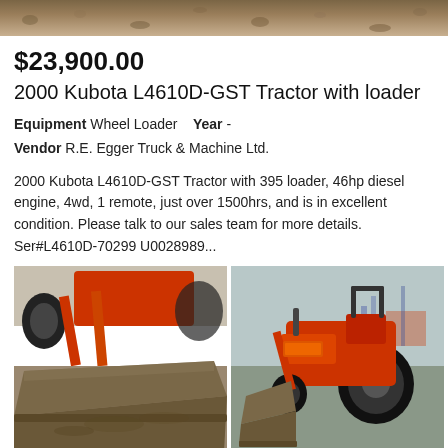[Figure (photo): Page header background — gravel/dirt texture strip]
$23,900.00
2000 Kubota L4610D-GST Tractor with loader
Equipment Wheel Loader    Year -
Vendor R.E. Egger Truck & Machine Ltd.
2000 Kubota L4610D-GST Tractor with 395 loader, 46hp diesel engine, 4wd, 1 remote, just over 1500hrs, and is in excellent condition. Please talk to our sales team for more details. Ser#L4610D-70299 U0028989...
[Figure (photo): Left photo: close-up of orange Kubota tractor front loader bucket on gravel ground]
[Figure (photo): Right photo: side view of orange Kubota L4610D-GST tractor with front loader in outdoor yard]